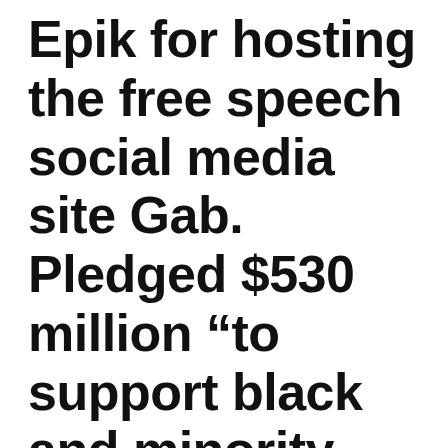Epik for hosting the free speech social media site Gab. Pledged $530 million “to support black and minority-owned businesses in the United States and foster diversity, amid worldwide protests over racial injustice”.